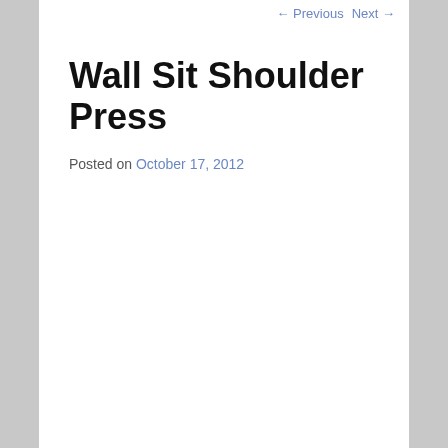← Previous   Next →
Wall Sit Shoulder Press
Posted on October 17, 2012